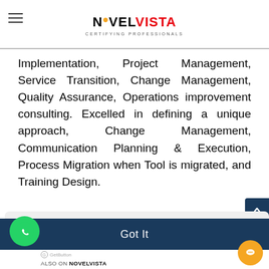NovelVista - Certifying Professionals
Implementation, Project Management, Service Transition, Change Management, Quality Assurance, Operations improvement consulting. Excelled in defining a unique approach, Change Management, Communication Planning & Execution, Process Migration when Tool is migrated, and Training Design.
This website uses cookies to ensure you get the best experience on our website. Learn more
Got It
GetButton ALSO ON NOVELVISTA